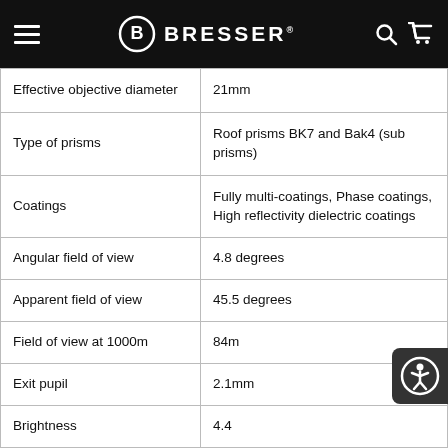BRESSER
|  |  |
| --- | --- |
| Effective objective diameter | 21mm |
| Type of prisms | Roof prisms BK7 and Bak4 (sub prisms) |
| Coatings | Fully multi-coatings, Phase coatings, High reflectivity dielectric coatings |
| Angular field of view | 4.8 degrees |
| Apparent field of view | 45.5 degrees |
| Field of view at 1000m | 84m |
| Exit pupil | 2.1mm |
| Brightness | 4.4 |